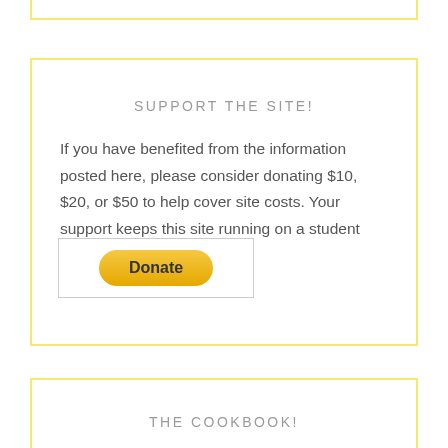SUPPORT THE SITE!
If you have benefited from the information posted here, please consider donating $10, $20, or $50 to help cover site costs. Your support keeps this site running on a student budget!
[Figure (other): PayPal Donate button inside a bordered rectangle]
THE COOKBOOK!